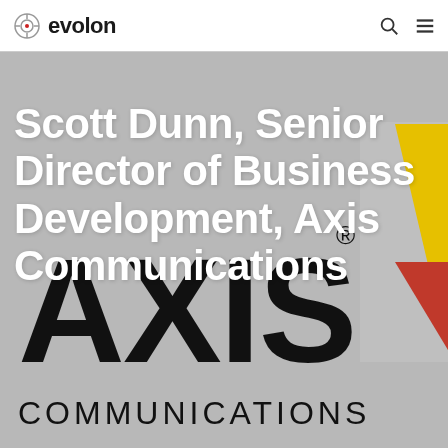evolon
[Figure (logo): Axis Communications logo — large black AXIS text with registered trademark symbol, yellow triangle and red triangle forming the company logo, on a gray background]
Scott Dunn, Senior Director of Business Development, Axis Communications